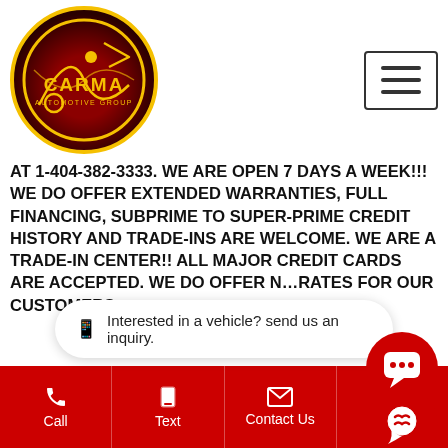[Figure (logo): Carma Automotive Group circular logo with yellow border, dark red background, yellow 'CARMA' text and 'AUTOMOTIVE GROUP' text]
AT 1-404-382-3333. WE ARE OPEN 7 DAYS A WEEK!!! WE DO OFFER EXTENDED WARRANTIES, FULL FINANCING, SUBPRIME TO SUPER-PRIME CREDIT HISTORY AND TRADE-INS ARE WELCOME. WE ARE A TRADE-IN CENTER!! ALL MAJOR CREDIT CARDS ARE ACCEPTED. WE DO OFFER NEGOTIATED RATES FOR OUR CUSTOMERS.
We do our best to list all the correct information, however, will not be bound by or responsible for any error or misprint in our advertisement. It is the customer's sole responsibility to verify the accuracy of the prices with the dealer as well as the existence and condition of any equipment listed. We may
Interested in a vehicle? send us an inquiry.
Call   Text   Contact Us   Map